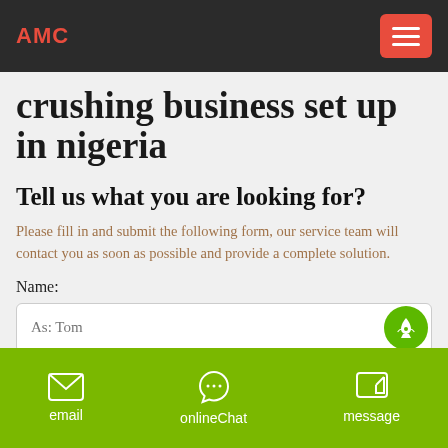AMC
crushing business set up in nigeria
Tell us what you are looking for?
Please fill in and submit the following form, our service team will contact you as soon as possible and provide a complete solution.
Name:
As: Tom
Email: *
email  onlineChat  message